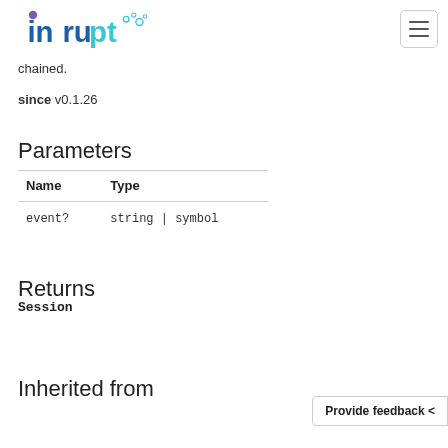inrupt [logo]
chained.
since v0.1.26
Parameters
| Name | Type |
| --- | --- |
| event? | string | symbol |
Returns
Session
Inherited from